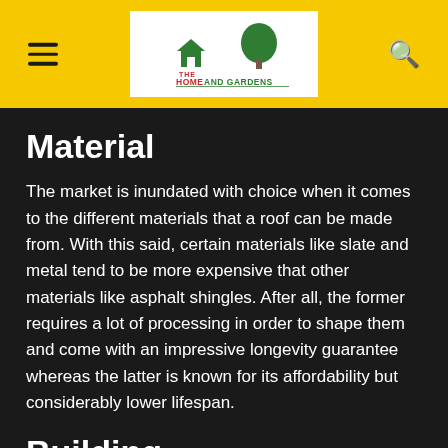The Home And Gardens — navigation header with logo
Material
The market is inundated with choice when it comes to the different materials that a roof can be made from. With this said, certain materials like slate and metal tend to be more expensive that other materials like asphalt shingles. After all, the former requires a lot of processing in order to shape them and come with an impressive longevity guarantee whereas the latter is known for its affordability but considerably lower lifespan.
Building
Another important factor to take into